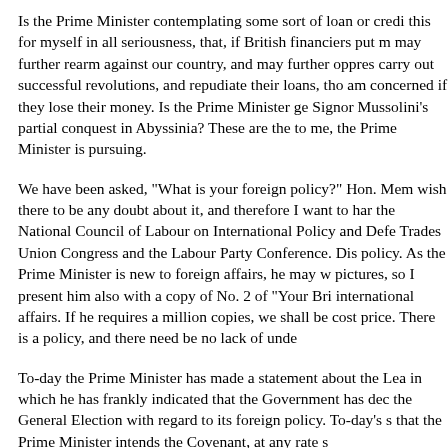Is the Prime Minister contemplating some sort of loan or credi this for myself in all seriousness, that, if British financiers put m may further rearm against our country, and may further oppres carry out successful revolutions, and repudiate their loans, tho am concerned if they lose their money. Is the Prime Minister ge Signor Mussolini's partial conquest in Abyssinia? These are th to me, the Prime Minister is pursuing.
We have been asked, "What is your foreign policy?" Hon. Mem wish there to be any doubt about it, and therefore I want to har the National Council of Labour on International Policy and Defe Trades Union Congress and the Labour Party Conference. Dis policy. As the Prime Minister is new to foreign affairs, he may w pictures, so I present him also with a copy of No. 2 of "Your Bri international affairs. If he requires a million copies, we shall be cost price. There is a policy, and there need be no lack of unde
To-day the Prime Minister has made a statement about the Lea in which he has frankly indicated that the Government has dec the General Election with regard to its foreign policy. To-day's s that the Prime Minister intends the Covenant, at any rate s